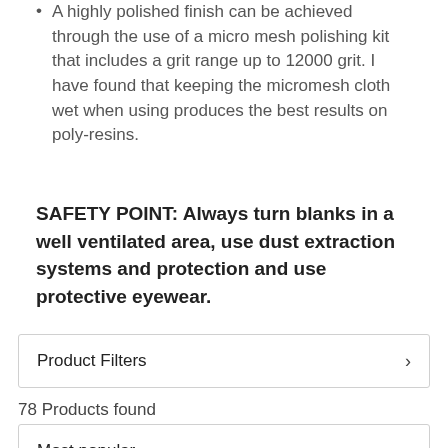A highly polished finish can be achieved through the use of a micro mesh polishing kit that includes a grit range up to 12000 grit. I have found that keeping the micromesh cloth wet when using produces the best results on poly-resins.
SAFETY POINT: Always turn blanks in a well ventilated area, use dust extraction systems and protection and use protective eyewear.
Product Filters
78 Products found
Most popular